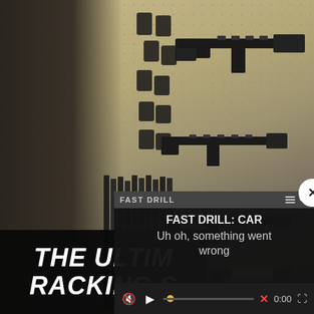[Figure (photo): A gun store or display room pegboard wall showing multiple rifles and firearms mounted on a perforated board, with additional rifles racked in a row on the left side. The wall is tan/cream colored with black dot perforations.]
THE ULTIM
RACKING S
FAST DRILL: CAR
Uh oh, something went wrong
0:00